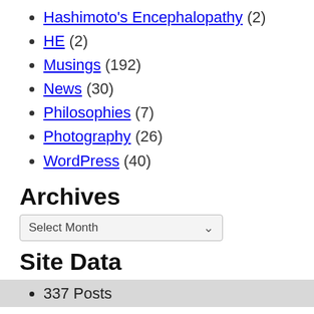Hashimoto's Encephalopathy (2)
HE (2)
Musings (192)
News (30)
Philosophies (7)
Photography (26)
WordPress (40)
Archives
Select Month
Site Data
337 Posts
33 Pages